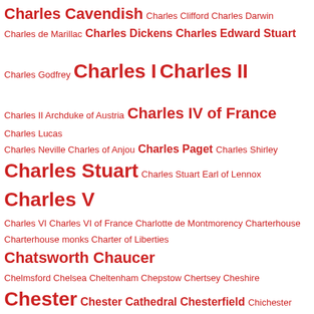Charles Cavendish Charles Clifford Charles Darwin Charles de Marillac Charles Dickens Charles Edward Stuart Charles Godfrey Charles I Charles II Charles II Archduke of Austria Charles IV of France Charles Lucas Charles Neville Charles of Anjou Charles Paget Charles Shirley Charles Stuart Charles Stuart Earl of Lennox Charles V Charles VI Charles VI of France Charlotte de Montmorency Charterhouse Charterhouse monks Charter of Liberties Chatsworth Chaucer Chelmsford Chelsea Cheltenham Chepstow Chertsey Cheshire Chester Chester Cathedral Chesterfield Chichester Chicksand Priory chidewite Chief Gentleman of the Privy Chamber children of William the Conqueror Chinon Chippendale Chippenham Chonica Maiora Christ Church Canterbury Christchurch Cathedral Priory Canterbury Christian Bruce Christian III Christian II of Denmark Christina Atheling Christina daughter of Edward the Exile Christina of Denmark Christina of Milan Christina of Wessex Christine de Bourbon Christmas Christmas Day Christmas ham Christmas laws